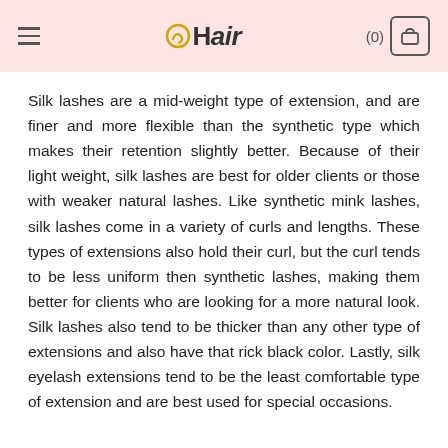eHair (0)
Silk lashes are a mid-weight type of extension, and are finer and more flexible than the synthetic type which makes their retention slightly better. Because of their light weight, silk lashes are best for older clients or those with weaker natural lashes. Like synthetic mink lashes, silk lashes come in a variety of curls and lengths. These types of extensions also hold their curl, but the curl tends to be less uniform then synthetic lashes, making them better for clients who are looking for a more natural look. Silk lashes also tend to be thicker than any other type of extensions and also have that rick black color. Lastly, silk eyelash extensions tend to be the least comfortable type of extension and are best used for special occasions.